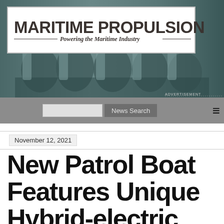[Figure (photo): Maritime Propulsion website header showing a logo on white background over an engine/machinery photo background in teal-grey tones. Logo reads 'MARITIME PROPULSION — Powering the Maritime Industry —'. Navigation bar with search input, News Search button, and hamburger menu below.]
ADVERTISEMENT
November 12, 2021
New Patrol Boat Features Unique Hybrid-electric Propulsion System